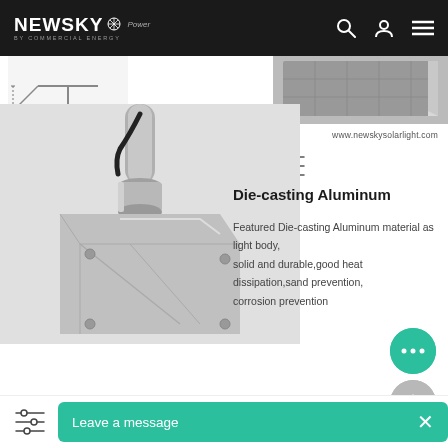NEWSKY Power — BY COMMERCIAL ENERGY — Navigation icons: search, user, menu
[Figure (photo): Partial view of a solar street light bracket/arm diagram (outline sketch)]
[Figure (photo): Partial view of solar panel corner, silver frame, diamond-pattern cells]
www.newskysolarlight.com
[Figure (illustration): Filter/settings sliders icon]
[Figure (photo): Close-up of die-casting aluminum housing of a solar street light pole mount, showing cylindrical connector, cable, and angular silver body]
Die-casting Aluminum
Featured Die-casting Aluminum material as light body, solid and durable,good heat dissipation,sand prevention, corrosion prevention
[Figure (illustration): Filter/settings sliders icon (bottom left)]
Leave a message